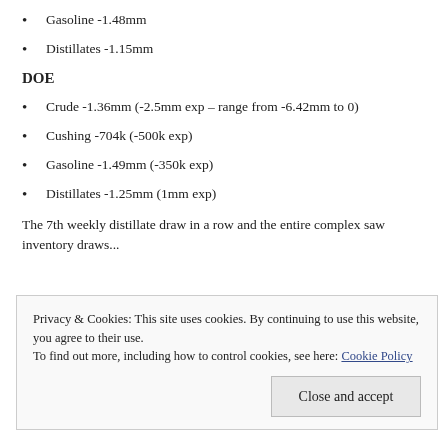Gasoline -1.48mm
Distillates -1.15mm
DOE
Crude -1.36mm (-2.5mm exp – range from -6.42mm to 0)
Cushing -704k (-500k exp)
Gasoline -1.49mm (-350k exp)
Distillates -1.25mm (1mm exp)
The 7th weekly distillate draw in a row and the entire complex saw inventory draws...
Privacy & Cookies: This site uses cookies. By continuing to use this website, you agree to their use.
To find out more, including how to control cookies, see here: Cookie Policy